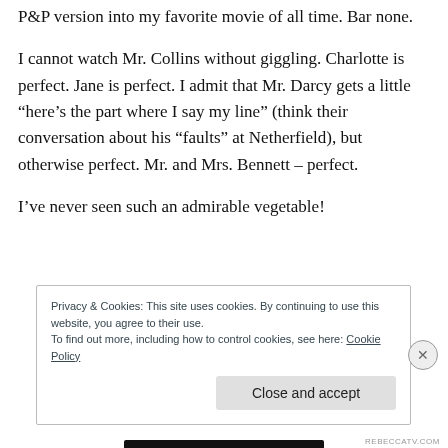P&P version into my favorite movie of all time. Bar none.
I cannot watch Mr. Collins without giggling. Charlotte is perfect. Jane is perfect. I admit that Mr. Darcy gets a little “here’s the part where I say my line” (think their conversation about his “faults” at Netherfield), but otherwise perfect. Mr. and Mrs. Bennett – perfect.
I’ve never seen such an admirable vegetable!
Privacy & Cookies: This site uses cookies. By continuing to use this website, you agree to their use.
To find out more, including how to control cookies, see here: Cookie Policy